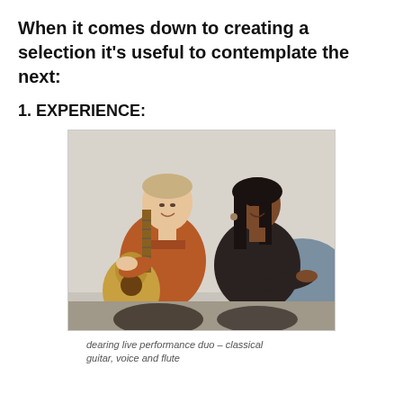When it comes down to creating a selection it's useful to contemplate the next:
1. EXPERIENCE:
[Figure (photo): Two musicians sitting together: a man in an orange shirt holding a classical guitar on the left, and a woman in a black top on the right, both smiling, with a light grey background.]
dearing live performance duo – classical guitar, voice and flute